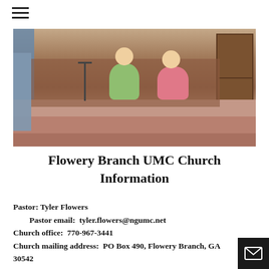[Figure (photo): Church interior photo showing two children sitting on steps near the altar with wooden doors and pews visible]
Flowery Branch UMC Church Information
Pastor: Tyler Flowers
        Pastor email:  tyler.flowers@ngumc.net
Church office:  770-967-3441
Church mailing address:  PO Box 490, Flowery Branch, GA  30542
Church email:  flowerybranchumc@gmail.com